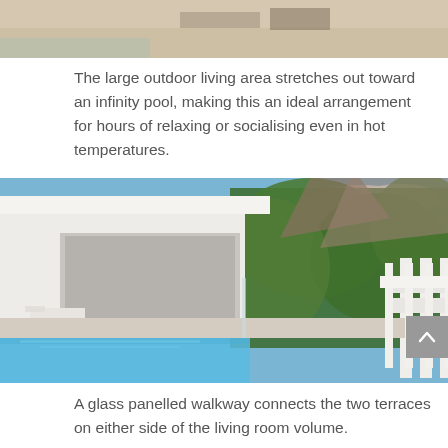[Figure (photo): Partial view of outdoor area with pool and deck, cropped at top]
The large outdoor living area stretches out toward an infinity pool, making this an ideal arrangement for hours of relaxing or socialising even in hot temperatures.
[Figure (photo): Modern villa exterior with infinity pool, open living room, terrace with sun loungers, and green forested hillside backdrop]
A glass panelled walkway connects the two terraces on either side of the living room volume.
[Figure (photo): Partial view of striped awning or pergola with blue sky and clouds below, cropped at bottom]